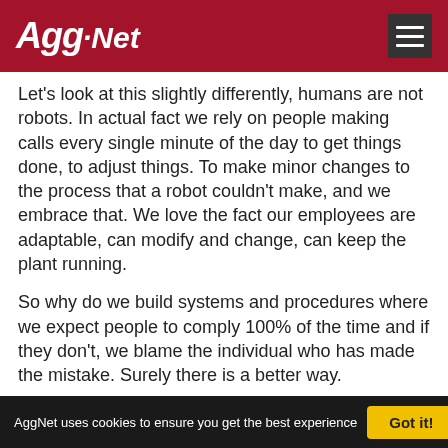Agg-Net
Let's look at this slightly differently, humans are not robots. In actual fact we rely on people making calls every single minute of the day to get things done, to adjust things. To make minor changes to the process that a robot couldn't make, and we embrace that. We love the fact our employees are adaptable, can modify and change, can keep the plant running.
So why do we build systems and procedures where we expect people to comply 100% of the time and if they don't, we blame the individual who has made the mistake. Surely there is a better way.
Why not build a system that can handle an amount of mistake making - build in some capacity. Do it in a way where people don't get seriously injured or killed by the
AggNet uses cookies to ensure you get the best experience